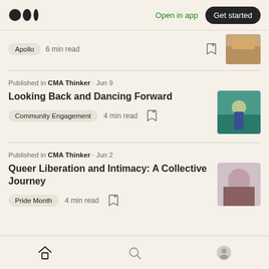Medium logo | Open in app | Get started
Apollo · 6 min read
Published in CMA Thinker · Jun 9 | Looking Back and Dancing Forward | Community Engagement · 4 min read
Published in CMA Thinker · Jun 2 | Queer Liberation and Intimacy: A Collective Journey | Pride Month · 4 min read
Home | Search | Profile